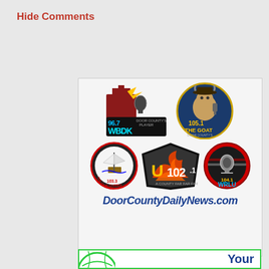Hide Comments
[Figure (logo): Advertisement banner for Door County Daily News featuring radio station logos: 96.7 WBDK, 105.1 The Goat, 103.3 The Clipper, U102.1, 104.1 WRLU, and DoorCountyDailyNews.com]
[Figure (infographic): Bottom partial banner with green border showing a partial circular logo and the word 'Your' in bold blue text]